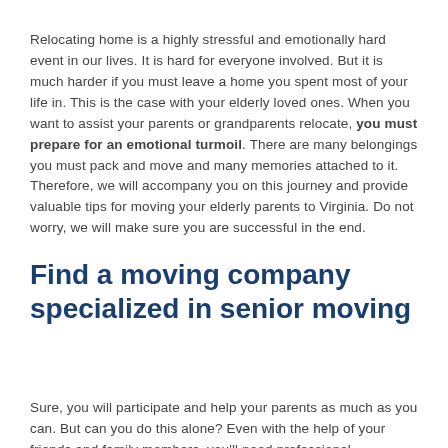Relocating home is a highly stressful and emotionally hard event in our lives. It is hard for everyone involved. But it is much harder if you must leave a home you spent most of your life in. This is the case with your elderly loved ones. When you want to assist your parents or grandparents relocate, you must prepare for an emotional turmoil. There are many belongings you must pack and move and many memories attached to it. Therefore, we will accompany you on this journey and provide valuable tips for moving your elderly parents to Virginia. Do not worry, we will make sure you are successful in the end.
Find a moving company specialized in senior moving
Sure, you will participate and help your parents as much as you can. But can you do this alone? Even with the help of your friends and family members, you'll need professional